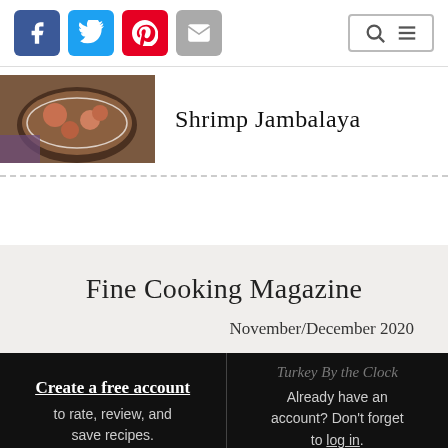Social icons: Facebook, Twitter, Pinterest, Email | Search and Menu icons
Shrimp Jambalaya
Fine Cooking Magazine
November/December 2020
Turkey By the Clock
Create a free account to rate, review, and save recipes.
Already have an account? Don't forget to log in.
View Issue